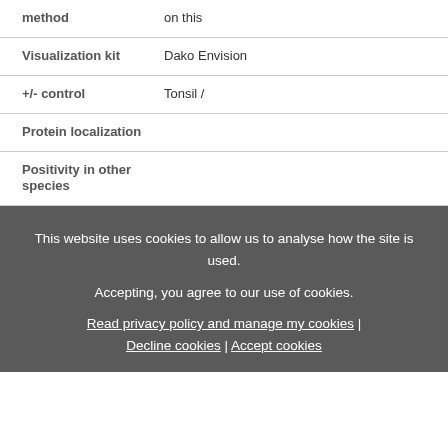| method | on this |
| Visualization kit | Dako Envision |
| +/- control | Tonsil / |
| Protein localization |  |
| Positivity in other species |  |
This website uses cookies to allow us to analyse how the site is used.
Accepting, you agree to our use of cookies.
Read privacy policy and manage my cookies | Decline cookies | Accept cookies